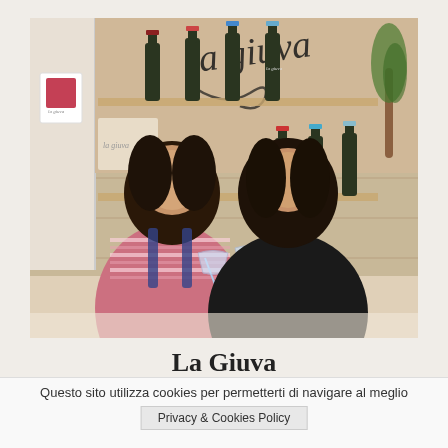[Figure (photo): Two young women sitting at a table in front of a wooden shelving unit displaying 'La Giuva' branded wine bottles. The woman on the left wears a striped pink and white shirt with denim overalls and holds champagne glasses. The woman on the right wears a black top. Behind them are multiple wine bottles on wooden shelves with 'la giuva' written in script on the wall above. A logo card is visible on the left side.]
La Giuva
Questo sito utilizza cookies per permetterti di navigare al meglio
Privacy & Cookies Policy